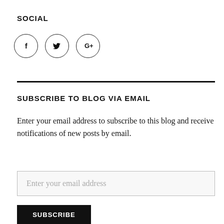SOCIAL
[Figure (illustration): Three social media icon circles: Facebook (f), Twitter (bird), Google+ (G+)]
SUBSCRIBE TO BLOG VIA EMAIL
Enter your email address to subscribe to this blog and receive notifications of new posts by email.
Enter your email address
SUBSCRIBE